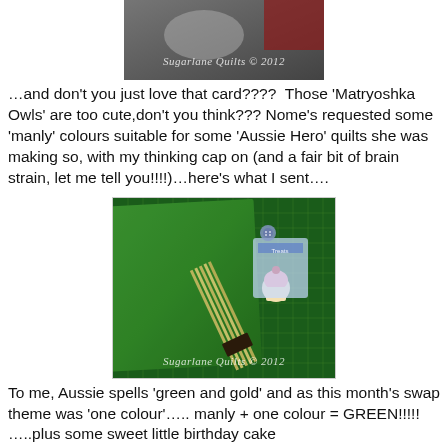[Figure (photo): Top partial photo showing quilting items with 'Sugarlane Quilts © 2012' watermark]
…and don't you just love that card????  Those 'Matryoshka Owls' are too cute,don't you think??? Nome's requested some 'manly' colours suitable for some 'Aussie Hero' quilts she was making so, with my thinking cap on (and a fair bit of brain strain, let me tell you!!!!)…here's what I sent….
[Figure (photo): Photo of green fabric on a cutting mat with sewing notions and a small cupcake charm, with 'Sugarlane Quilts © 2012' watermark]
To me, Aussie spells 'green and gold' and as this month's swap theme was 'one colour'….. manly + one colour = GREEN!!!!!  …..plus some sweet little birthday cake